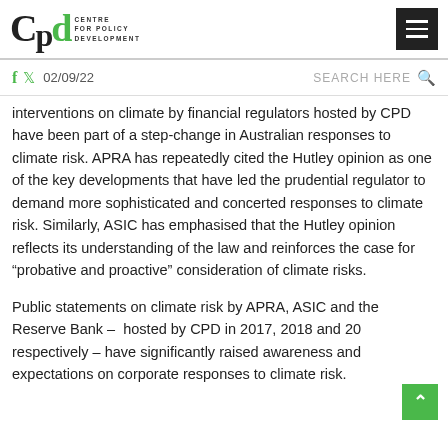[Figure (logo): CPD Centre for Policy Development logo with green 'd' and text]
02/09/22  SEARCH HERE
interventions on climate by financial regulators hosted by CPD have been part of a step-change in Australian responses to climate risk. APRA has repeatedly cited the Hutley opinion as one of the key developments that have led the prudential regulator to demand more sophisticated and concerted responses to climate risk. Similarly, ASIC has emphasised that the Hutley opinion reflects its understanding of the law and reinforces the case for “probative and proactive” consideration of climate risks.
Public statements on climate risk by APRA, ASIC and the Reserve Bank –  hosted by CPD in 2017, 2018 and 20 respectively – have significantly raised awareness and expectations on corporate responses to climate risk.